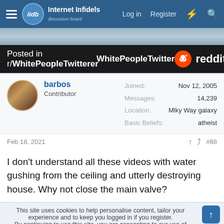Internet Infidels — Log in  Register
[Figure (screenshot): Partial banner/hero image showing a winter or outdoor scene]
[Figure (infographic): Dark bar reading 'Posted in r/WhitePeopleTwitter' with Reddit logo on the right]
barbos
Contributor
Joined: Nov 12, 2005
Messages: 14,239
Location: Mlky Way galaxy
Basic Beliefs: atheist
Feb 18, 2021  #68
I don't understand all these videos with water gushing from the ceiling and utterly destroying house. Why not close the main valve?
This site uses cookies to help personalise content, tailor your experience and to keep you logged in if you register.
By continuing to use this site, you are consenting to our use of cookies.
Accept  Learn more...